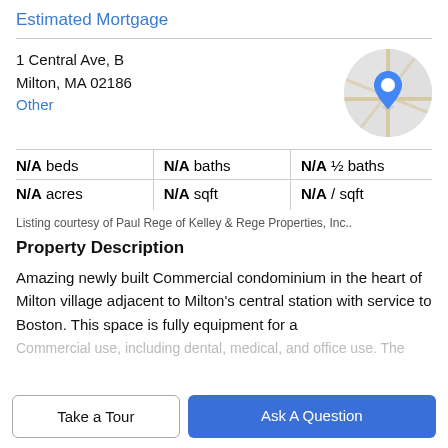Estimated Mortgage
1 Central Ave, B
Milton, MA 02186
Other
[Figure (map): Circular map thumbnail with a blue location pin marker over a street map of the area]
| N/A beds | N/A baths | N/A ½ baths |
| N/A acres | N/A sqft | N/A / sqft |
Listing courtesy of Paul Rege of Kelley & Rege Properties, Inc..
Property Description
Amazing newly built Commercial condominium in the heart of Milton village adjacent to Milton's central station with service to Boston. This space is fully equipment for a
Take a Tour
Ask A Question